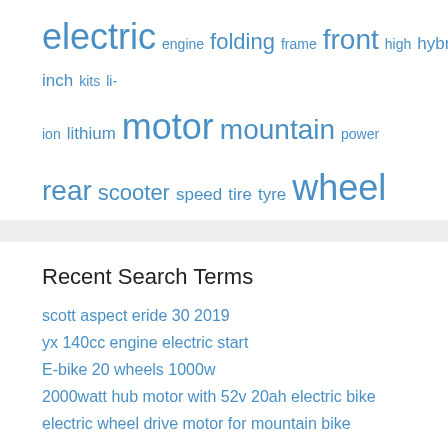electric engine folding frame front high hybrid inch kits li-ion lithium motor mountain power rear scooter speed tire tyre wheel
Recent Search Terms
scott aspect eride 30 2019
yx 140cc engine electric start
E-bike 20 wheels 1000w
2000watt hub motor with 52v 20ah electric bike
electric wheel drive motor for mountain bike